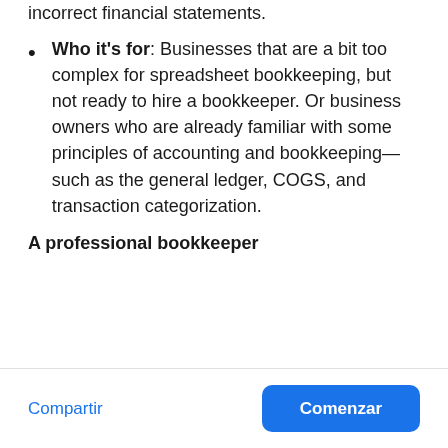incorrect financial statements.
Who it's for: Businesses that are a bit too complex for spreadsheet bookkeeping, but not ready to hire a bookkeeper. Or business owners who are already familiar with some principles of accounting and bookkeeping—such as the general ledger, COGS, and transaction categorization.
A professional bookkeeper
Compartir
Comenzar